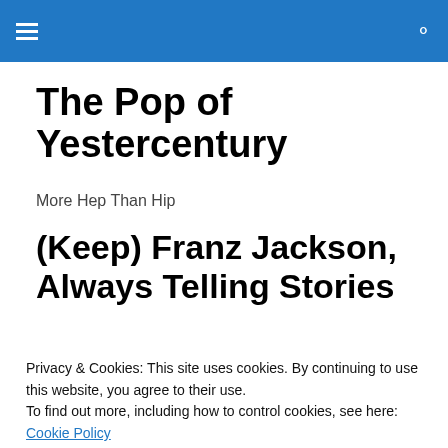The Pop of Yestercentury
The Pop of Yestercentury
More Hep Than Hip
(Keep) Franz Jackson, Always Telling Stories
[Figure (photo): Black and white photograph of a person, partially visible at bottom of page]
Privacy & Cookies: This site uses cookies. By continuing to use this website, you agree to their use.
To find out more, including how to control cookies, see here: Cookie Policy
Close and accept